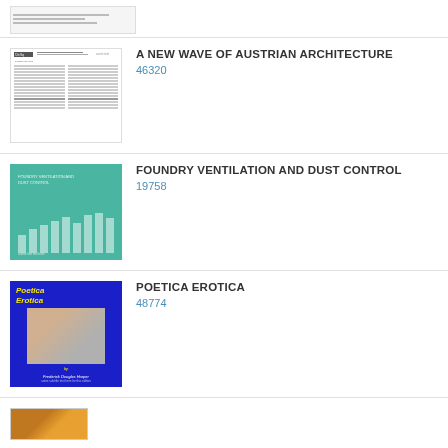[Figure (other): Partial thumbnail of a document page at the top, cut off]
[Figure (other): Thumbnail of a text document page for 'A New Wave of Austrian Architecture']
A NEW WAVE OF AUSTRIAN ARCHITECTURE
46320
[Figure (other): Book cover for Foundry Ventilation and Dust Control - teal/green color with bar chart graphic]
FOUNDRY VENTILATION AND DUST CONTROL
19758
[Figure (other): Book cover for Poetica Erotica - blue cover with italic yellow title and photo of a figure]
POETICA EROTICA
48774
[Figure (other): Partial thumbnail of another book cover, cut off at bottom]